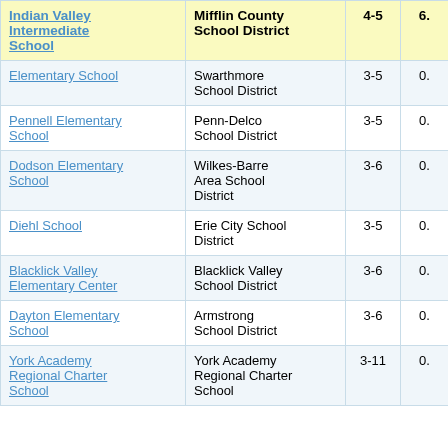| School | District | 4-5 | 6... |
| --- | --- | --- | --- |
| Indian Valley Intermediate School | Mifflin County School District | 4-5 | 6... |
| Elementary School | Swarthmore School District | 3-5 | 0... |
| Pennell Elementary School | Penn-Delco School District | 3-5 | 0... |
| Dodson Elementary School | Wilkes-Barre Area School District | 3-6 | 0... |
| Diehl School | Erie City School District | 3-5 | 0... |
| Blacklick Valley Elementary Center | Blacklick Valley School District | 3-6 | 0... |
| Dayton Elementary School | Armstrong School District | 3-6 | 0... |
| York Academy Regional Charter School | York Academy Regional Charter School | 3-11 | 0... |